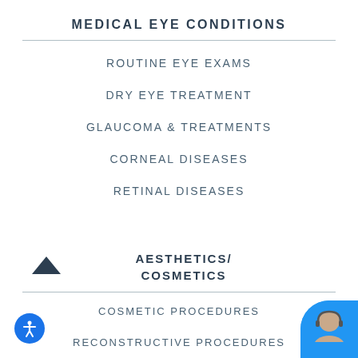MEDICAL EYE CONDITIONS
ROUTINE EYE EXAMS
DRY EYE TREATMENT
GLAUCOMA & TREATMENTS
CORNEAL DISEASES
RETINAL DISEASES
AESTHETICS/ COSMETICS
COSMETIC PROCEDURES
RECONSTRUCTIVE PROCEDURES
[Figure (illustration): Accessibility icon button (person with arms outstretched in circle) on blue circle, bottom left]
[Figure (photo): Chat avatar showing woman with headset, blue circle background, bottom right corner]